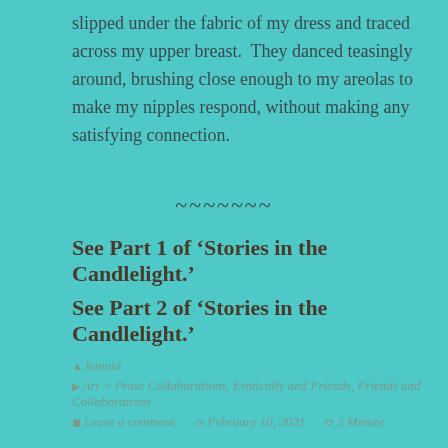slipped under the fabric of my dress and traced across my upper breast.  They danced teasingly around, brushing close enough to my areolas to make my nipples respond, without making any satisfying connection.
~~~~~~~
See Part 1 of ‘Stories in the Candlelight.’
See Part 2 of ‘Stories in the Candlelight.’
kannid
Art + Prose Collaborations, Erotically and Friends, Friends and Collaborations
Leave a comment   February 10, 2021   3 Minute